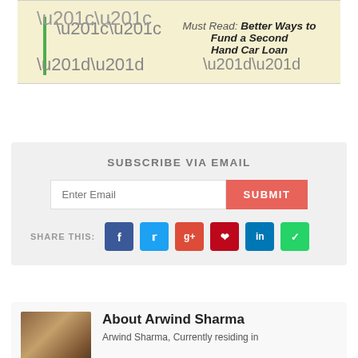““ Must Read: Better Ways to Fund a Second Hand Car Loan ””
SUBSCRIBE VIA EMAIL
SHARE THIS:
About Arwind Sharma
Arwind Sharma, Currently residing in